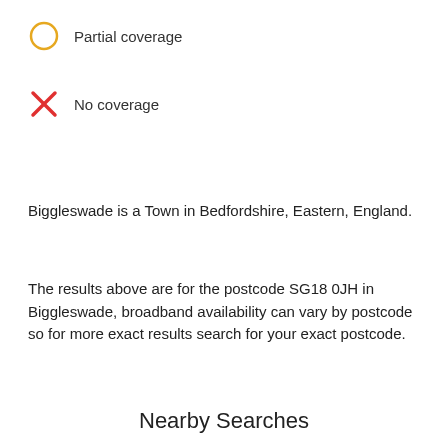Partial coverage
No coverage
Biggleswade is a Town in Bedfordshire, Eastern, England.
The results above are for the postcode SG18 0JH in Biggleswade, broadband availability can vary by postcode so for more exact results search for your exact postcode.
Nearby Searches